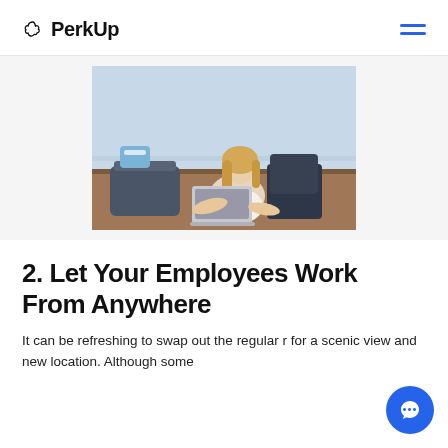PerkUp
[Figure (photo): Woman with blonde hair working on a laptop outdoors on a rooftop terrace with chairs and a scenic view in the background.]
2. Let Your Employees Work From Anywhere
It can be refreshing to swap out the regular r for a scenic view and new location. Although some